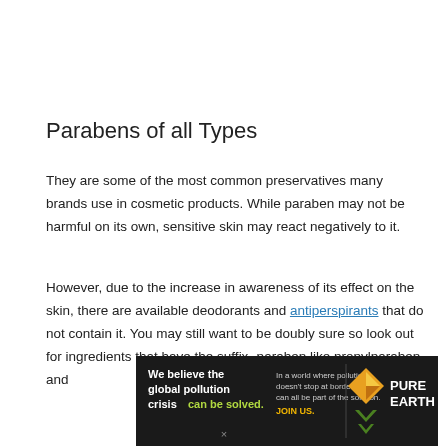Parabens of all Types
They are some of the most common preservatives many brands use in cosmetic products. While paraben may not be harmful on its own, sensitive skin may react negatively to it.
However, due to the increase in awareness of its effect on the skin, there are available deodorants and antiperspirants that do not contain it. You may still want to be doubly sure so look out for ingredients that have the suffix -paraben like propylparaben and
[Figure (infographic): Pure Earth advertisement banner: 'We believe the global pollution crisis can be solved.' with tagline 'In a world where pollution doesn't stop at borders, we can all be part of the solution. JOIN US.' and Pure Earth logo on the right.]
×